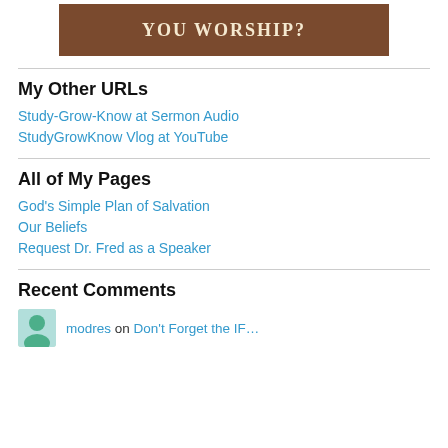[Figure (illustration): Brown banner image with text 'YOU WORSHIP?' in light cream serif letters]
My Other URLs
Study-Grow-Know at Sermon Audio
StudyGrowKnow Vlog at YouTube
All of My Pages
God's Simple Plan of Salvation
Our Beliefs
Request Dr. Fred as a Speaker
Recent Comments
modres on Don't Forget the IF...